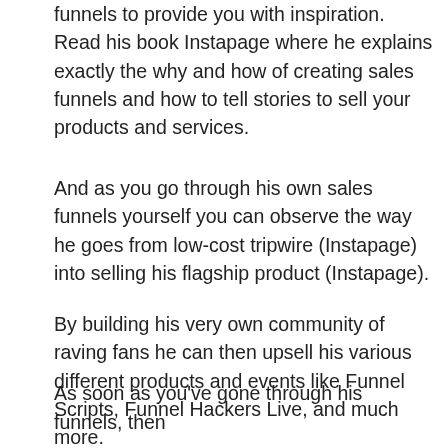funnels to provide you with inspiration. Read his book Instapage where he explains exactly the why and how of creating sales funnels and how to tell stories to sell your products and services.
And as you go through his own sales funnels yourself you can observe the way he goes from low-cost tripwire (Instapage) into selling his flagship product (Instapage).
By building his very own community of raving fans he can then upsell his various different products and events like Funnel Scripts, Funnel Hackers Live, and much more.
As soon as you've gone through his funnels, then